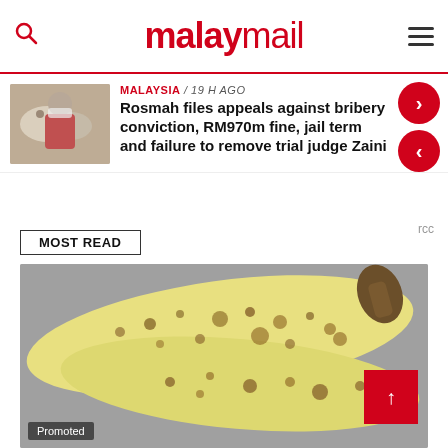malaymail
Rosmah files appeals against bribery conviction, RM970m fine, jail term and failure to remove trial judge Zaini
MOST READ
[Figure (photo): Spotted ripe bananas against a grey background, promotional image]
Promoted